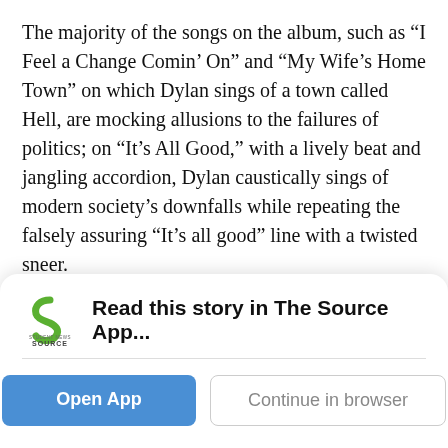The majority of the songs on the album, such as “I Feel a Change Comin’ On” and “My Wife’s Home Town” on which Dylan sings of a town called Hell, are mocking allusions to the failures of politics; on “It’s All Good,” with a lively beat and jangling accordion, Dylan caustically sings of modern society’s downfalls while repeating the falsely assuring “It’s all good” line with a twisted sneer.
“Together Through Life” is not a collection of songs that immediately stick in the mind, but Dylan’s rough tales of tough times show that regardless of what is happening in the world, he’s not afraid to let his voice be heard.
Dylan sounds as raw and irritated as ever about the
[Figure (logo): Student News Source logo with green S-shaped icon and SOURCE text below]
Read this story in The Source App...
Open App
Continue in browser